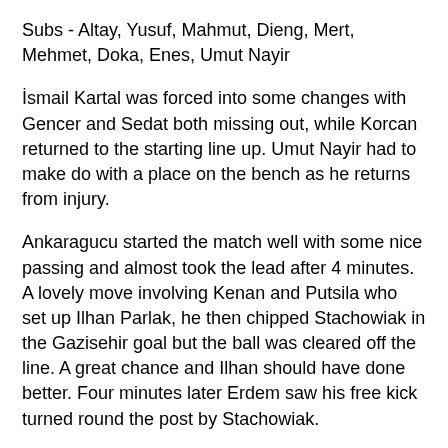Subs - Altay, Yusuf, Mahmut, Dieng, Mert, Mehmet, Doka, Enes, Umut Nayir
İsmail Kartal was forced into some changes with Gencer and Sedat both missing out, while Korcan returned to the starting line up. Umut Nayir had to make do with a place on the bench as he returns from injury.
Ankaragucu started the match well with some nice passing and almost took the lead after 4 minutes. A lovely move involving Kenan and Putsila who set up Ilhan Parlak, he then chipped Stachowiak in the Gazisehir goal but the ball was cleared off the line. A great chance and Ilhan should have done better. Four minutes later Erdem saw his free kick turned round the post by Stachowiak.
From then on, it was all Gazisehir who looked pretty impressive especially Del Valle who was causing all sorts of problems for the Ankaragucu defence. Their first chance came for Pierre Webo but for an outstanding block by Abdulkadir who unfortunately injured himself in the proceedings and was replaced with Mehmet Sak...